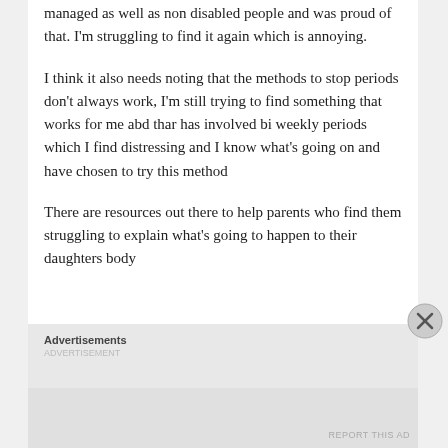managed as well as non disabled people and was proud of that. I'm struggling to find it again which is annoying.
I think it also needs noting that the methods to stop periods don't always work, I'm still trying to find something that works for me abd thar has involved bi weekly periods which I find distressing and I know what's going on and have chosen to try this method
There are resources out there to help parents who find them struggling to explain what's going to happen to their daughters body
Advertisements
REPORT THIS AD